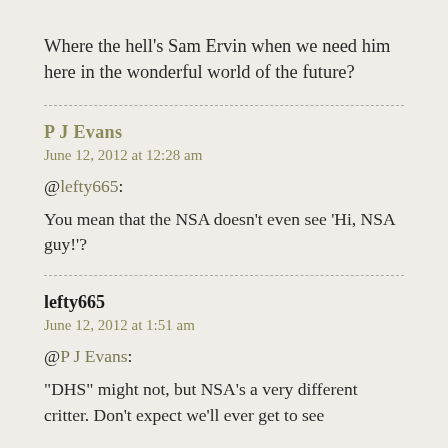Where the hell's Sam Ervin when we need him here in the wonderful world of the future?
P J Evans
June 12, 2012 at 12:28 am
@lefty665:
You mean that the NSA doesn't even see 'Hi, NSA guy!'?
lefty665
June 12, 2012 at 1:51 am
@P J Evans:
"DHS" might not, but NSA's a very different critter. Don't expect we'll ever get to see...